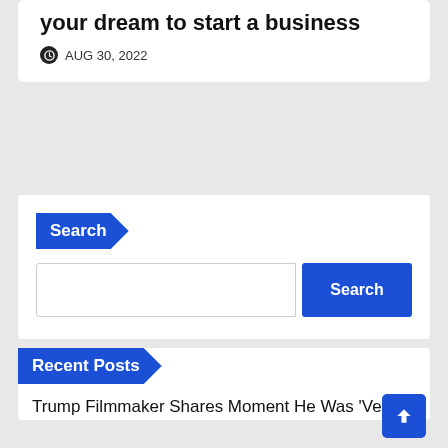your dream to start a business
AUG 30, 2022
Search
Recent Posts
Trump Filmmaker Shares Moment He Was 'Very